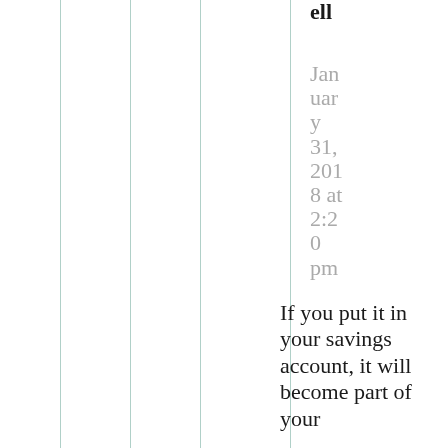ell
January 31, 2018 at 2:20 pm
If you put it in your savings account, it will become part of your